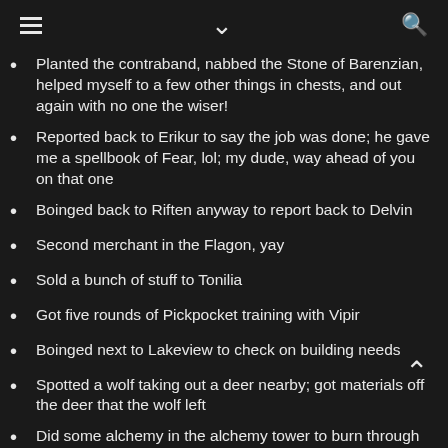≡  ⌄  🔍
Planted the contraband, nabbed the Stone of Barenzian, helped myself to a few other things in chests, and out again with no one the wiser!
Reported back to Erikur to say the job was done; he gave me a spellbook of Fear, lol; my dude, way ahead of you on that one
Boinged back to Riften anyway to report back to Delvin
Second merchant in the Flagon, yay
Sold a bunch of stuff to Tonilia
Got five rounds of Pickpocket training with Vipir
Boinged next to Lakeview to check on building needs
Spotted a wolf taking out a deer nearby; got materials off the deer that the wolf left
Did some alchemy in the alchemy tower to burn through ingredients
Boinged next to Windstad for building purposes; built an